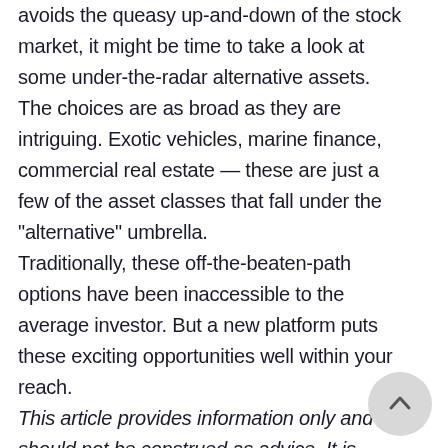avoids the queasy up-and-down of the stock market, it might be time to take a look at some under-the-radar alternative assets. The choices are as broad as they are intriguing. Exotic vehicles, marine finance, commercial real estate — these are just a few of the asset classes that fall under the "alternative" umbrella. Traditionally, these off-the-beaten-path options have been inaccessible to the average investor. But a new platform puts these exciting opportunities well within your reach.
This article provides information only and should not be construed as advice. It is provided without warranty of any kind.